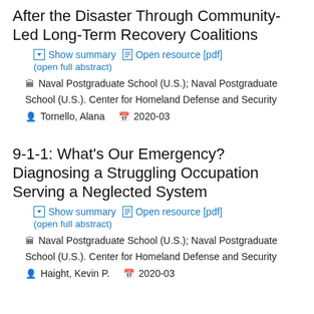After the Disaster Through Community-Led Long-Term Recovery Coalitions
Show summary  Open resource [pdf]  (open full abstract)
Naval Postgraduate School (U.S.); Naval Postgraduate School (U.S.). Center for Homeland Defense and Security   Tornello, Alana   2020-03
9-1-1: What's Our Emergency? Diagnosing a Struggling Occupation Serving a Neglected System
Show summary  Open resource [pdf]  (open full abstract)
Naval Postgraduate School (U.S.); Naval Postgraduate School (U.S.). Center for Homeland Defense and Security   Haight, Kevin P.   2020-03